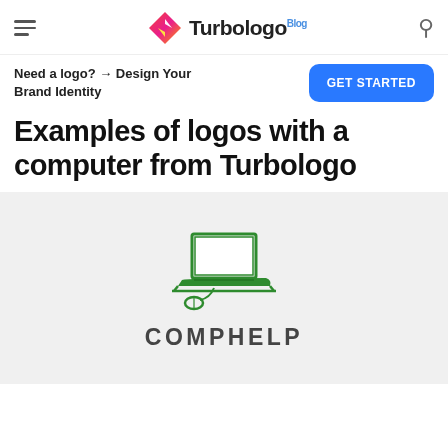Turbologo Blog
Need a logo? → Design Your Brand Identity
Examples of logos with a computer from Turbologo
[Figure (logo): COMPHELP logo: green outline illustration of a laptop computer with keyboard and mouse, above the word COMPHELP in bold dark gray capital letters, on a light gray background]